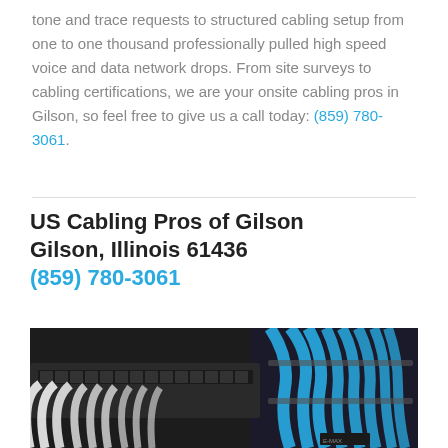tone and trace requests to structured cabling setup from one to one thousand professionally pulled high speed voice and data network drops. From site surveys to cabling certifications, we are your onsite cabling pros in Gilson, so feel free to give us a call today: (859) 780-3061.
US Cabling Pros of Gilson
Gilson, Illinois 61436
(859) 780-3061
[Figure (photo): Close-up photo of a network patch panel with white ethernet cables plugged in on the left side and blue cables bundled on the right side, in a dark server rack environment.]